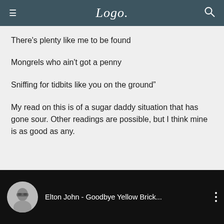Logo
There's plenty like me to be found
Mongrels who ain't got a penny
Sniffing for tidbits like you on the ground"
My read on this is of a sugar daddy situation that has gone sour. Other readings are possible, but I think mine is as good as any.
[Figure (screenshot): YouTube video embed showing Elton John - Goodbye Yellow Brick... with a circular thumbnail of a person with glasses and a three-dot menu icon]